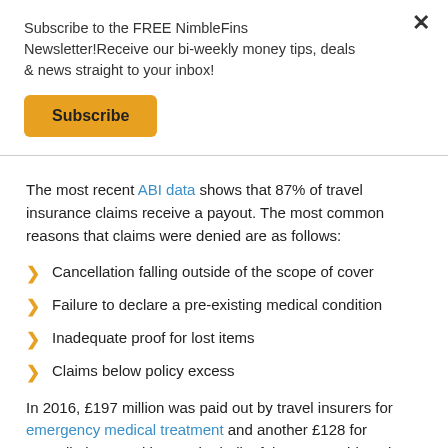Subscribe to the FREE NimbleFins Newsletter!Receive our bi-weekly money tips, deals & news straight to your inbox!
Subscribe
The most recent ABI data shows that 87% of travel insurance claims receive a payout. The most common reasons that claims were denied are as follows:
Cancellation falling outside of the scope of cover
Failure to declare a pre-existing medical condition
Inadequate proof for lost items
Claims below policy excess
In 2016, £197 million was paid out by travel insurers for emergency medical treatment and another £128 for cancellations, making up the bulk of the £365 paid out in